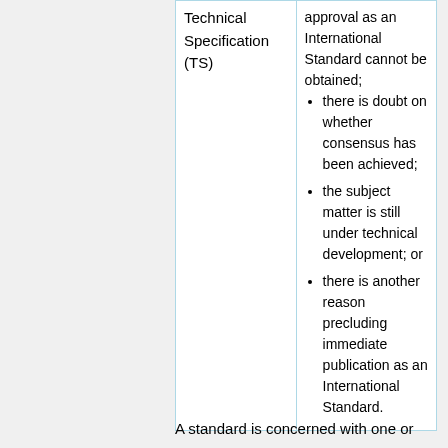| Type | Description |
| --- | --- |
| Technical Specification (TS) | approval as an International Standard cannot be obtained; there is doubt on whether consensus has been achieved; the subject matter is still under technical development; or there is another reason precluding immediate publication as an International Standard. |
A standard is concerned with one or